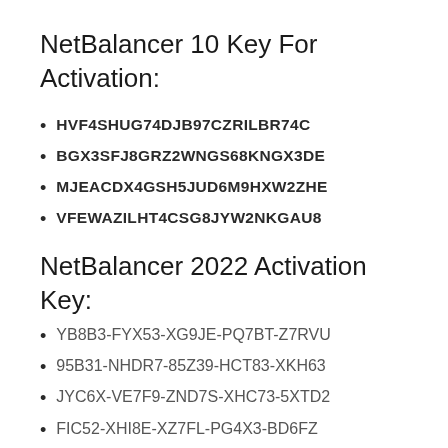NetBalancer 10 Key For Activation:
HVF4SHUG74DJB97CZRILBR74C
BGX3SFJ8GRZ2WNGS68KNGX3DE
MJEACDX4GSH5JUD6M9HXW2ZHE
VFEWAZILHT4CSG8JYW2NKGAU8
NetBalancer 2022 Activation Key:
YB8B3-FYX53-XG9JE-PQ7BT-Z7RVU
95B31-NHDR7-85Z39-HCT83-XKH63
JYC6X-VE7F9-ZND7S-XHC73-5XTD2
FIC52-XHI8E-XZ7FL-PG4X3-BD6FZ
NetBalancer Product Key 2022: